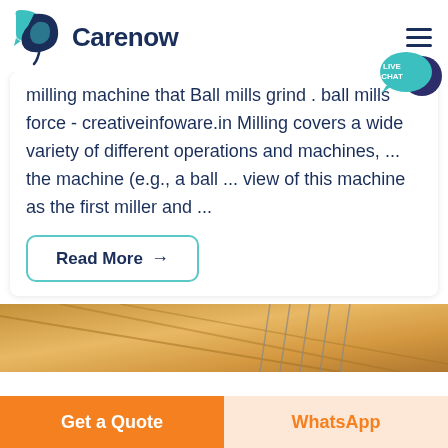Carenow
milling machine that Ball mills grind . ball mills force - creativeinfoware.in Milling covers a wide variety of different operations and machines, ... the machine (e.g., a ball ... view of this machine as the first miller and ...
[Figure (other): Read More button with teal border and arrow]
[Figure (photo): Partial image of wooden stairs with metal railing]
Get a Quote  |  WhatsApp